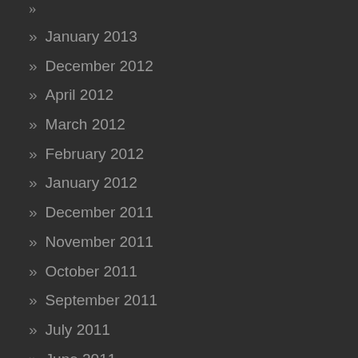» January 2013
» December 2012
» April 2012
» March 2012
» February 2012
» January 2012
» December 2011
» November 2011
» October 2011
» September 2011
» July 2011
» June 2011
» May 2011
» April 2011